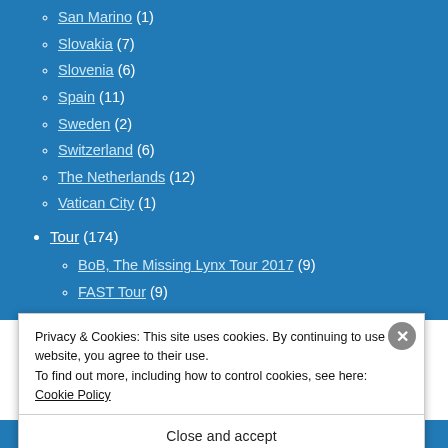San Marino (1)
Slovakia (7)
Slovenia (6)
Spain (11)
Sweden (2)
Switzerland (6)
The Netherlands (12)
Vatican City (1)
Tour (174)
BoB, The Missing Lynx Tour 2017 (9)
FAST Tour (9)
Privacy & Cookies: This site uses cookies. By continuing to use this website, you agree to their use.
To find out more, including how to control cookies, see here: Cookie Policy
Close and accept